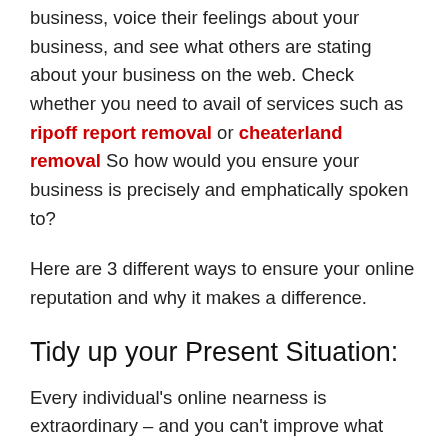business, voice their feelings about your business, and see what others are stating about your business on the web. Check whether you need to avail of services such as ripoff report removal or cheaterland removal So how would you ensure your business is precisely and emphatically spoken to?
Here are 3 different ways to ensure your online reputation and why it makes a difference.
Tidy up your Present Situation:
Every individual's online nearness is extraordinary – and you can't improve what you don't have the foggiest idea. Google yourself and see what comes up in the initial not many pages. In the event that there is negative or unessential substance showing up that you control – end